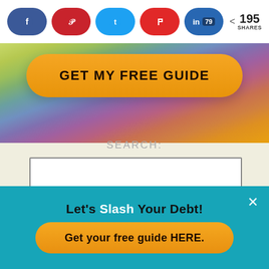[Figure (screenshot): Social media share buttons: Facebook, Pinterest, Twitter, Flipboard, LinkedIn (79), and share count of 195 SHARES]
[Figure (screenshot): Orange rounded button with text GET MY FREE GUIDE on a rainbow/gradient background]
SEARCH:
[Figure (screenshot): Empty white search input box with grey border]
Copyright © 2022 Debt Free Guys™  |  Designed and Developed with ♥ by LizTheresa.com  |  Terms
[Figure (screenshot): Teal popup banner with text 'Let’s Slash Your Debt!' and orange CTA button 'Get your free guide HERE.' with X close button]